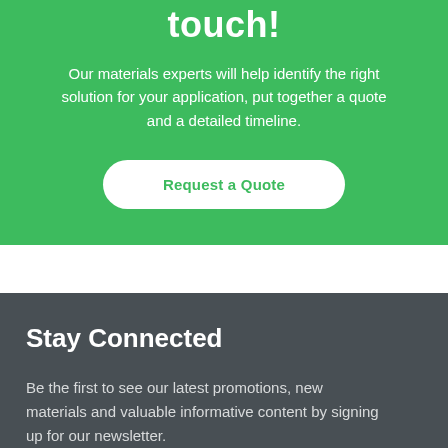touch!
Our materials experts will help identify the right solution for your application, put together a quote and a detailed timeline.
Request a Quote
Stay Connected
Be the first to see our latest promotions, new materials and valuable informative content by signing up for our newsletter.